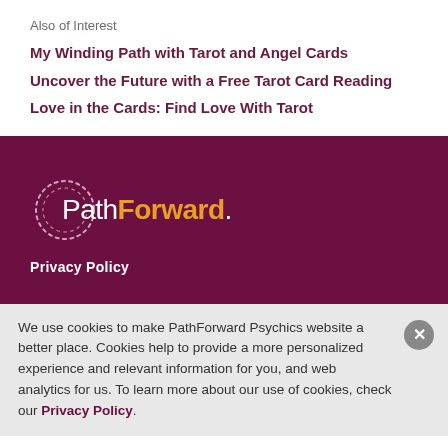Also of Interest
My Winding Path with Tarot and Angel Cards
Uncover the Future with a Free Tarot Card Reading
Love in the Cards: Find Love With Tarot
[Figure (logo): PathForward logo with dotted circle and orange/white text on dark purple background]
Privacy Policy
We use cookies to make PathForward Psychics website a better place. Cookies help to provide a more personalized experience and relevant information for you, and web analytics for us. To learn more about our use of cookies, check our Privacy Policy.